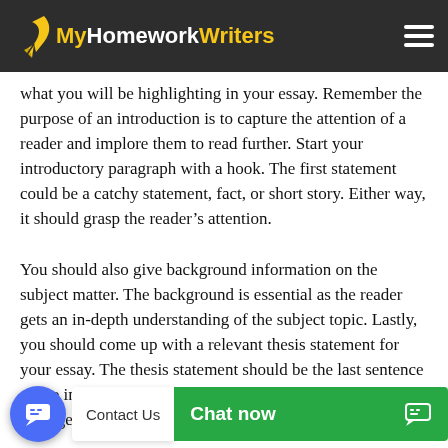MyHomeworkWriters
what you will be highlighting in your essay. Remember the purpose of an introduction is to capture the attention of a reader and implore them to read further. Start your introductory paragraph with a hook. The first statement could be a catchy statement, fact, or short story. Either way, it should grasp the reader’s attention.
You should also give background information on the subject matter. The background is essential as the reader gets an in-depth understanding of the subject topic. Lastly, you should come up with a relevant thesis statement for your essay. The thesis statement should be the last sentence of the introduction of your re…e o…ship and management.